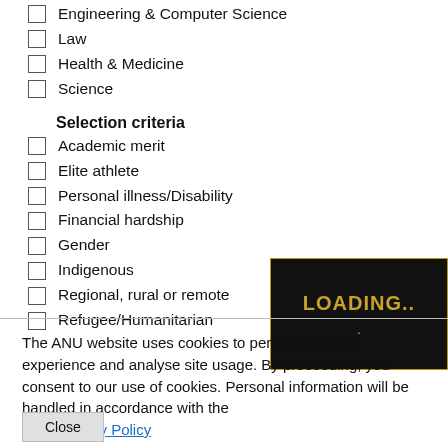Engineering & Computer Science
Law
Health & Medicine
Science
Selection criteria
Academic merit
Elite athlete
Personal illness/Disability
Financial hardship
Gender
Indigenous
Regional, rural or remote
Refugee/Humanitarian
[Figure (screenshot): LOADING.. tooltip overlay box with gold border on black background]
The ANU website uses cookies to personalise your experience and analyse site usage. By proceeding, you consent to our use of cookies. Personal information will be handled in accordance with the ANU Privacy Policy
Close